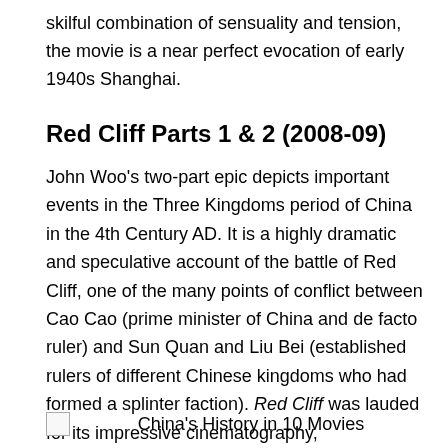skilful combination of sensuality and tension, the movie is a near perfect evocation of early 1940s Shanghai.
Red Cliff Parts 1 & 2 (2008-09)
John Woo's two-part epic depicts important events in the Three Kingdoms period of China in the 4th Century AD. It is a highly dramatic and speculative account of the battle of Red Cliff, one of the many points of conflict between Cao Cao (prime minister of China and de facto ruler) and Sun Quan and Liu Bei (established rulers of different Chinese kingdoms who had formed a splinter faction). Red Cliff was lauded for its impressive cinematography, entertainment value, quirks of intermittent humour, and battlefield sequences.
China's History in 10 Movies